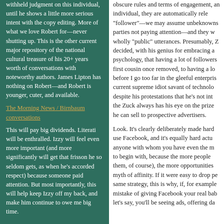withheld judgment on this individual, until he shows a little more serious intent with the copy editing. More of what we love Robert for—never shutting up. This is the other current major repository of the national cultural treasure of his 20+ years worth of conversations with noteworthy authors. James Lipton has nothing on Robert—and Robert is younger, cuter, and available.
The Morning News / Birnbaum conversations
This will pay big dividends. Literati will be enthralled. Izzy will feel even more important (and more significantly will get that frisson he so seldom gets, as when he's accorded respect) because someone paid attention. But most importantly, this will help keep Izzy off my back, and make him continue to owe me big time.
FRANCE
[Figure (photo): Photo of travel in France, showing a close-up of what appears to be a decorative or architectural detail in dark reddish-brown tones.]
Random photos from travel in France
obscure rules and terms of engagement, an individual, they are automatically rele "follower"—we may assume unbeknowns parties not paying attention—and they w wholly "public" utterances. Presumably, Z decided, with his genius for embracing a psychology, that having a lot of followers first cousin once removed, to having a lo before I go too far in the gleeful enterpris current supreme idiot savant of technolo despite his protestations that he's not int the Zuck always has his eye on the prize he can sell to prospective advertisers.
Look. It's clearly deliberately made hard use Facebook, and it's equally hard actu anyone with whom you have even the m to begin with, because the more people them, of course), the more opportunities myth of affinity. If it were easy to drop pe same strategy, this is why, if, for example mistake of giving Facebook your real bab let's say, you'll be seeing ads, offering da